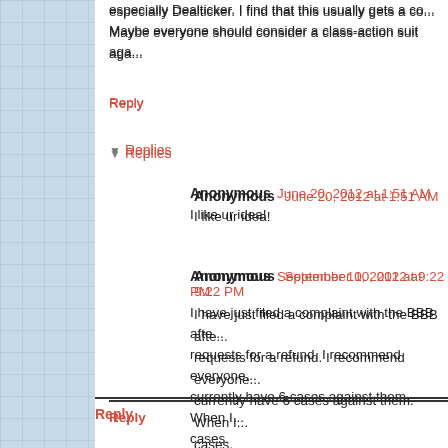especially Dealticker. I find that this usually gets a co... Maybe everyone should consider a class-action suit aga...
Reply
Replies
Anonymous  June 20, 2012 at 1:51 AM
I like ur idea!
Anonymous  September 10, 2012 at 9:22 PM
I have just filed a complaint with the BBB afte... requests for a refund. I recommend everyone... currently have 6 cases against them. When I... cases.
Reply
Anonymous  June 20, 2012 at 1:50 AM
Same story... ordered W9 and received M10, after waiti... fake too. If they're gna fool the people with fake ones...